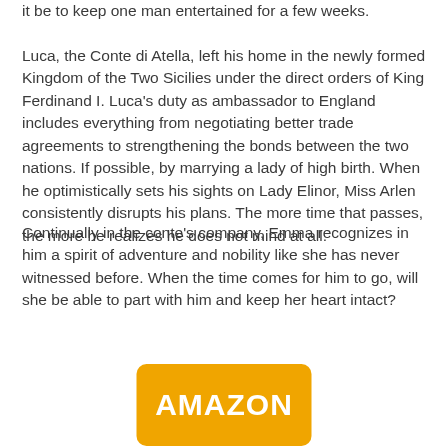it be to keep one man entertained for a few weeks.

Luca, the Conte di Atella, left his home in the newly formed Kingdom of the Two Sicilies under the direct orders of King Ferdinand I. Luca's duty as ambassador to England includes everything from negotiating better trade agreements to strengthening the bonds between the two nations. If possible, by marrying a lady of high birth. When he optimistically sets his sights on Lady Elinor, Miss Arlen consistently disrupts his plans. The more time that passes, the more he realizes he does not mind at all.
Continually in the conte's company, Emma recognizes in him a spirit of adventure and nobility like she has never witnessed before. When the time comes for him to go, will she be able to part with him and keep her heart intact?
[Figure (logo): Amazon logo button — yellow/gold rounded rectangle with white bold text 'AMAZON']